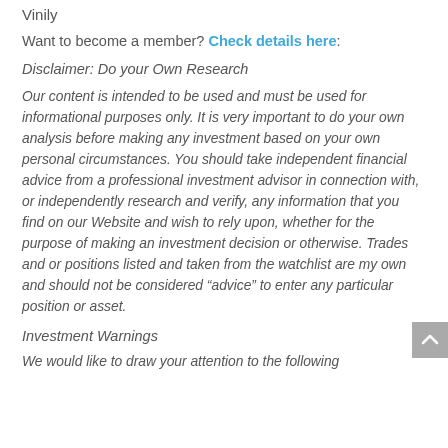Vinily
Want to become a member? Check details here:
Disclaimer:  Do your Own Research
Our content is intended to be used and must be used for informational purposes only. It is very important to do your own analysis before making any investment based on your own personal circumstances. You should take independent financial advice from a professional investment advisor in connection with, or independently research and verify, any information that you find on our Website and wish to rely upon, whether for the purpose of making an investment decision or otherwise. Trades and or positions listed and taken from the watchlist are my own and should not be considered “advice” to enter any particular position or asset.
Investment Warnings
We would like to draw your attention to the following